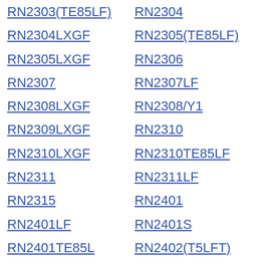RN2303(TE85LF)
RN2304
RN2304LXGF
RN2305(TE85LF)
RN2305LXGF
RN2306
RN2307
RN2307LF
RN2308LXGF
RN2308/Y1
RN2309LXGF
RN2310
RN2310LXGF
RN2310TE85LF
RN2311
RN2311LF
RN2315
RN2401
RN2401LF
RN2401S
RN2401TE85L
RN2402(T5LFT)